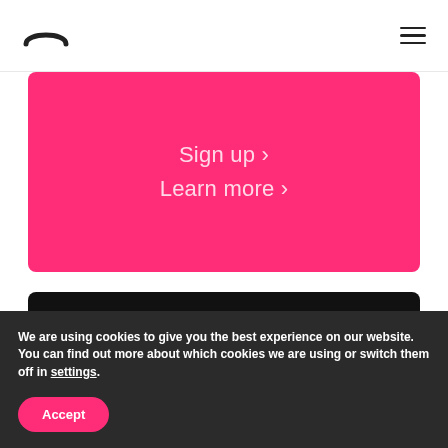Sign up ›
Learn more ›
Advertisers
We are using cookies to give you the best experience on our website.
You can find out more about which cookies we are using or switch them off in settings.
Accept